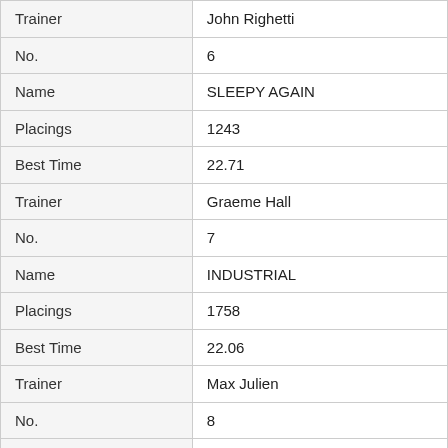| Field | Value |
| --- | --- |
| Trainer | John Righetti |
| No. | 6 |
| Name | SLEEPY AGAIN |
| Placings | 1243 |
| Best Time | 22.71 |
| Trainer | Graeme Hall |
| No. | 7 |
| Name | INDUSTRIAL |
| Placings | 1758 |
| Best Time | 22.06 |
| Trainer | Max Julien |
| No. | 8 |
| Name | SKEIT |
| Placings | 816 |
| Best Time | NBT |
| Trainer | Cosi Dagostino |
| No. | 9 |